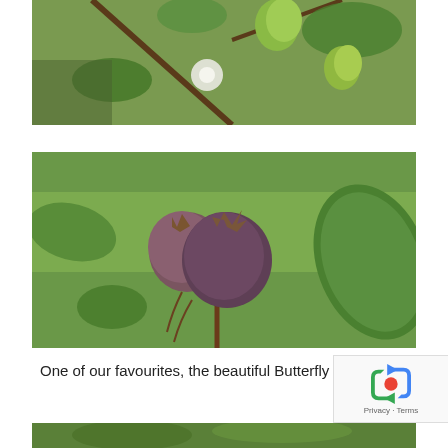[Figure (photo): Close-up photo of green unripe plum-like fruits hanging from a tree branch with green leaves in the background.]
[Figure (photo): Close-up photo of two dark purple fuzzy fruits (possibly medlars or similar) on a stem with green leaves in the background.]
One of our favourites, the beautiful Butterfly Orc
[Figure (photo): Partial photo at the bottom of the page showing foliage.]